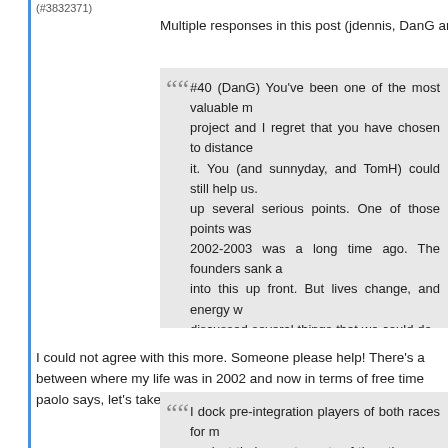(#3832371)
Multiple responses in this post (jdennis, DanG and DanR) . . .
#40 (DanG) You've been one of the most valuable m... project and I regret that you have chosen to distance... it. You (and sunnyday, and TomH) could still help us. up several serious points. One of those points was 2002-2003 was a long time ago. The founders sank a into this up front. But lives change, and energy w discussed several things that we could do - and then done none of them. We even had trouble getting this on time. Is there someone who does have energy vision for the HoM that is fully compatible with wha open to pushing for more? Would it make sense to new to the administration of the HoM? (I'll add, qui don't have that time or energy.)
I could not agree with this more. Someone please help! There's a between where my life was in 2002 and now in terms of free time paolo says, let's take the discussion of this over to the 'once we c
I dock pre-integration players of both races for m against their counterparts of the other race (Babe Ru had a lower OPS+ if he had played in the same lea Charleston, but Charleston would have had a lower l he were being translated to an integrated major l would be understanding that the relevant b